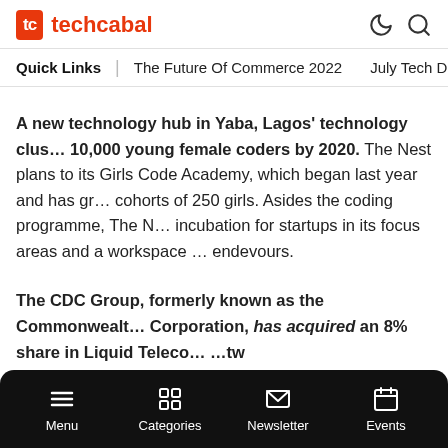techcabal
Quick Links | The Future Of Commerce 2022  July Tech
A new technology hub in Yaba, Lagos' technology clus... 10,000 young female coders by 2020. The Nest plans to its Girls Code Academy, which began last year and has gr... cohorts of 250 girls. Asides the coding programme, The N... incubation for startups in its focus areas and a workspace ... endevours.
The CDC Group, formerly known as the Commonwealt... Corporation, has acquired an 8% share in Liquid Teleco...